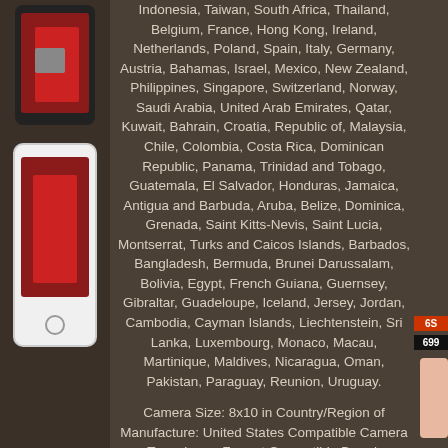[Figure (photo): Left side: two smartphone/display assembly photos showing red LCD screens. Right side: partial view of a rose gold iPhone.]
Indonesia, Taiwan, South Africa, Thailand, Belgium, France, Hong Kong, Ireland, Netherlands, Poland, Spain, Italy, Germany, Austria, Bahamas, Israel, Mexico, New Zealand, Philippines, Singapore, Switzerland, Norway, Saudi Arabia, United Arab Emirates, Qatar, Kuwait, Bahrain, Croatia, Republic of, Malaysia, Chile, Colombia, Costa Rica, Dominican Republic, Panama, Trinidad and Tobago, Guatemala, El Salvador, Honduras, Jamaica, Antigua and Barbuda, Aruba, Belize, Dominica, Grenada, Saint Kitts-Nevis, Saint Lucia, Montserrat, Turks and Caicos Islands, Barbados, Bangladesh, Bermuda, Brunei Darussalam, Bolivia, Egypt, French Guiana, Guernsey, Gibraltar, Guadeloupe, Iceland, Jersey, Jordan, Cambodia, Cayman Islands, Liechtenstein, Sri Lanka, Luxembourg, Monaco, Macau, Martinique, Maldives, Nicaragua, Oman, Pakistan, Paraguay, Reunion, Uruguay.
Camera Size: 8x10 in Country/Region of Manufacture: United States Compatible Camera Type: Large Format Compatible Brand: Universal Brand: Unbranded Type: Film Holder Adapters